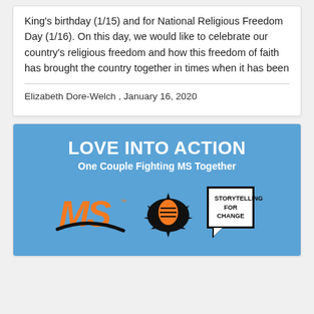King's birthday (1/15) and for National Religious Freedom Day (1/16). On this day, we would like to celebrate our country's religious freedom and how this freedom of faith has brought the country together in times when it has been
Elizabeth Dore-Welch , January 16, 2020
[Figure (illustration): Blue banner image with white bold text 'LOVE INTO ACTION' and subtitle 'One Couple Fighting MS Together'. Below are three logos: the MS Society orange MS logo with black swoosh, a black ink splat with orange boot print, and a white 'STORYTELLING FOR CHANGE' speech bubble box on blue background.]